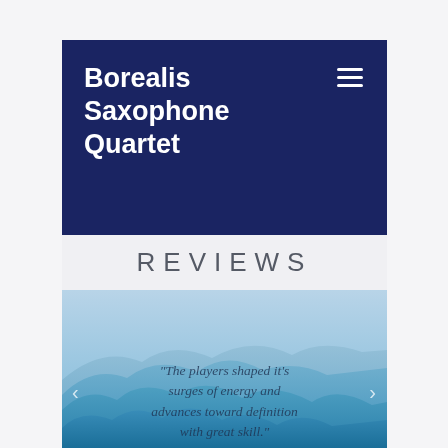Borealis Saxophone Quartet
REVIEWS
[Figure (illustration): Layered blue mountain silhouettes fading into a misty sky, used as decorative background for reviews section]
“The players shaped it’s surges of energy and advances toward definition with great skill.”